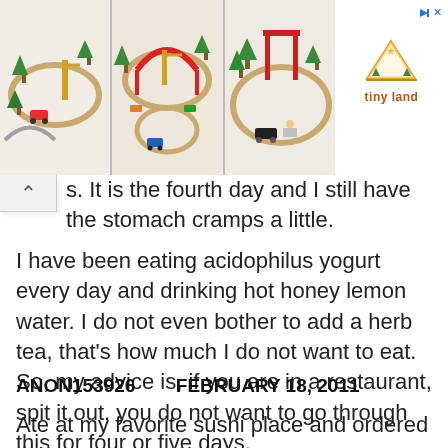[Figure (photo): Advertisement banner showing three images of wooden toy train sets with colorful pieces, trees, bridges, and tracks. Tiny Land logo on the right side with a triangle/tent icon. Top right shows a play/close button.]
s. It is the fourth day and I still have the stomach cramps a little.
I have been eating acidophilus yogurt every day and drinking hot honey lemon water. I do not even bother to add a herb tea, that's how much I do not want to eat. So, my advice is, if you are in a restaurant, spit it out. you do not want to go through this for four or five days.
ANON153926     FEBRUARY 18, 2011
Ate at my favorite sushi place and ordered the